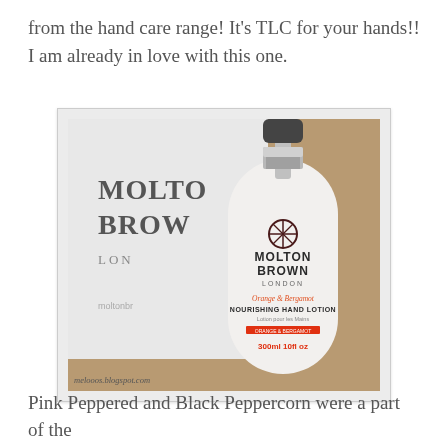from the hand care range! It's TLC for your hands!! I am already in love with this one.
[Figure (photo): A Molton Brown London Orange & Bergamot Nourishing Hand Lotion 300ml bottle with a pump dispenser, placed in front of a Molton Brown branded box. The bottle is white with a chrome pump top. Text on bottle reads: MOLTON BROWN LONDON, Orange & Bergamot, NOURISHING HAND LOTION, 300ml 10fl oz. Watermark at bottom left reads: melooos.blogspot.com]
Pink Peppered and Black Peppercorn were a part of the